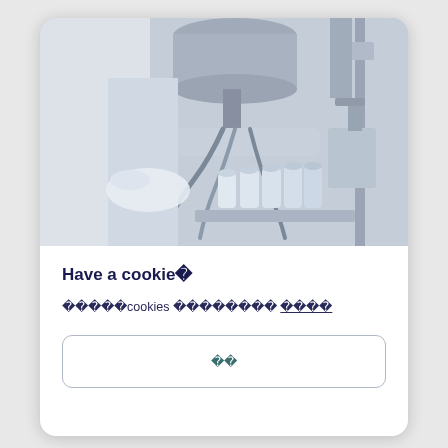[Figure (photo): Black and white / blue-tinted industrial photo showing laboratory or food production equipment with bottles on a conveyor and machinery above, with a gloved hand visible.]
Have a cookie�
�����cookies �������� ����
��